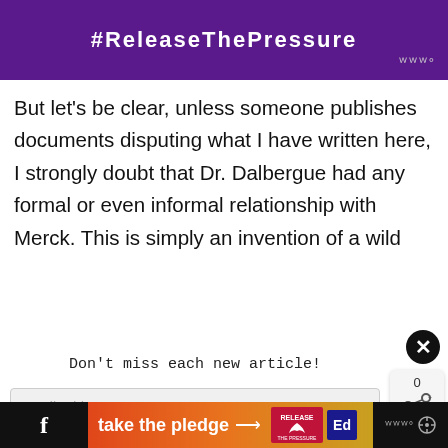[Figure (screenshot): Purple banner with text #ReleaseTHePressure and a small logo in the bottom right corner]
But let’s be clear, unless someone publishes documents disputing what I have written here, I strongly doubt that Dr. Dalbergue had any formal or even informal relationship with Merck. This is simply an invention of a wild
Don’t miss each new article!
Email Address *
[Figure (screenshot): Bottom navigation bar with take the pledge banner in orange, Release logo, and social media icons]